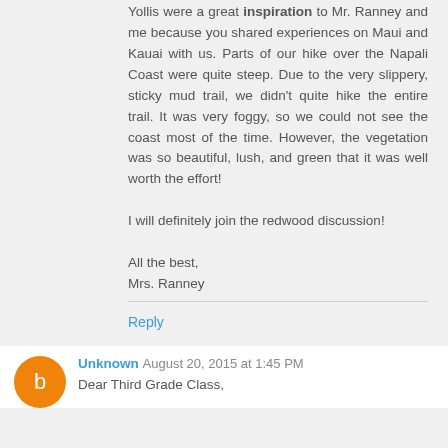Yollis were a great inspiration to Mr. Ranney and me because you shared experiences on Maui and Kauai with us. Parts of our hike over the Napali Coast were quite steep. Due to the very slippery, sticky mud trail, we didn't quite hike the entire trail. It was very foggy, so we could not see the coast most of the time. However, the vegetation was so beautiful, lush, and green that it was well worth the effort!

I will definitely join the redwood discussion!

All the best,
Mrs. Ranney
Reply
Unknown  August 20, 2015 at 1:45 PM
Dear Third Grade Class,